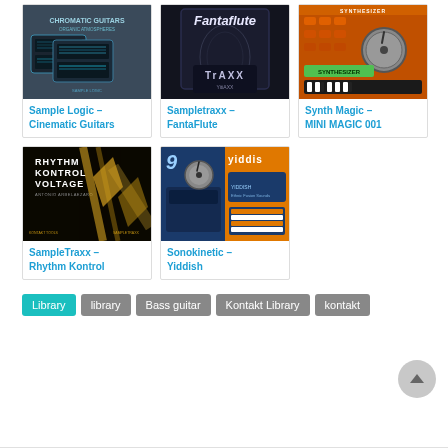[Figure (photo): Sample Logic – Cinematic Guitars product box art]
Sample Logic – Cinematic Guitars
[Figure (photo): Sampletraxx – FantaFlute product box art]
Sampletraxx – FantaFlute
[Figure (photo): Synth Magic – MINI MAGIC 001 product screenshot]
Synth Magic – MINI MAGIC 001
[Figure (photo): SampleTraxx – Rhythm Kontrol product art]
SampleTraxx – Rhythm Kontrol
[Figure (photo): Sonokinetic – Yiddish product screenshot]
Sonokinetic – Yiddish
Library
library
Bass guitar
Kontakt Library
kontakt